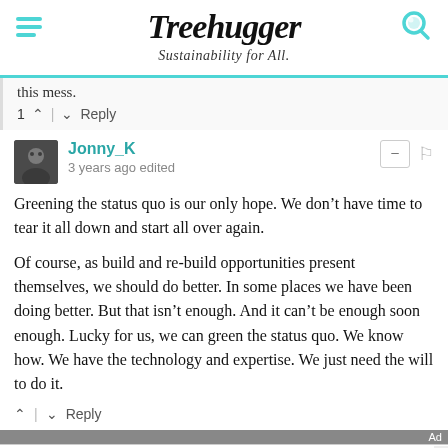Treehugger — Sustainability for All.
this mess.
1 ^ | v Reply
Jonny_K
3 years ago edited
Greening the status quo is our only hope. We don't have time to tear it all down and start all over again.

Of course, as build and re-build opportunities present themselves, we should do better. In some places we have been doing better. But that isn't enough. And it can't be enough soon enough. Lucky for us, we can green the status quo. We know how. We have the technology and expertise. We just need the will to do it.
^ | v Reply
[Figure (screenshot): Advertisement banner: IDRV from iShares — The Self-Driving EV & Tech ETF — Learn More — Fidelity]